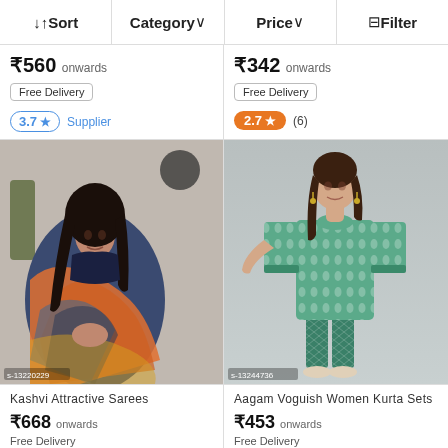↓↑ Sort   Category ∨   Price ∨   ⊟ Filter
₹560 onwards
Free Delivery
3.7 ★ Supplier
₹342 onwards
Free Delivery
2.7 ★ (6)
[Figure (photo): Woman wearing a colorful traditional saree, dark hair, smiling, decorative background. Image code: s-13220229]
[Figure (photo): Woman wearing a teal/green printed kurta set with matching pants. Image code: s-13244736]
Kashvi Attractive Sarees
₹668 onwards
Free Delivery
Aagam Voguish Women Kurta Sets
₹453 onwards
Free Delivery